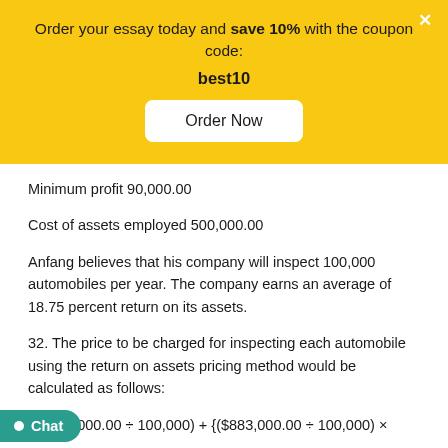Order your essay today and save 10% with the coupon code: best10
Minimum profit 90,000.00
Cost of assets employed 500,000.00
Anfang believes that his company will inspect 100,000 automobiles per year. The company earns an average of 18.75 percent return on its assets.
32. The price to be charged for inspecting each automobile using the return on assets pricing method would be calculated as follows:
/ ($883,000.00 ÷ 100,000) + {($883,000.00 ÷ 100,000) ×